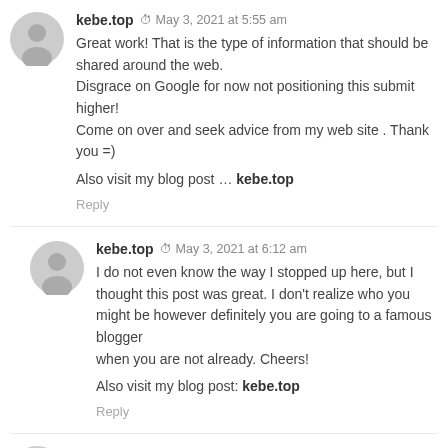kebe.top  May 3, 2021 at 5:55 am
Great work! That is the type of information that should be shared around the web.
Disgrace on Google for now not positioning this submit higher!
Come on over and seek advice from my web site . Thank you =)

Also visit my blog post … kebe.top

Reply
kebe.top  May 3, 2021 at 6:12 am
I do not even know the way I stopped up here, but I thought this post was great. I don't realize who you might be however definitely you are going to a famous blogger
when you are not already. Cheers!

Also visit my blog post: kebe.top

Reply
ncvfiresolutions.com  May 3, 2021 at 6:18 am